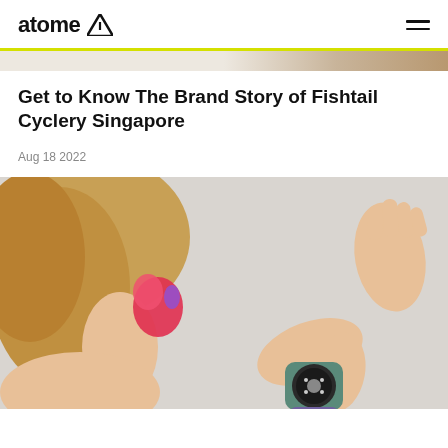atome
Get to Know The Brand Story of Fishtail Cyclery Singapore
Aug 18 2022
[Figure (photo): A child with blonde hair seen from behind, wearing a colorful toy/accessory and holding a smartwatch with a round dial and green/purple band.]